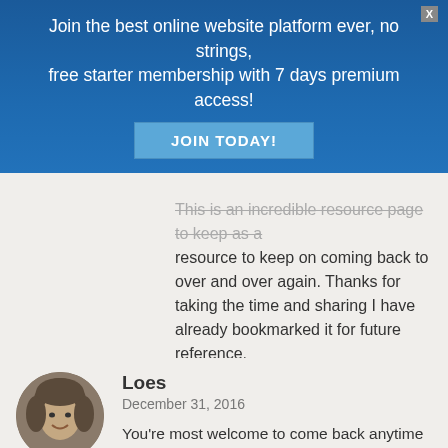Join the best online website platform ever, no strings, free starter membership with 7 days premium access!
JOIN TODAY!
This is an incredible resource page to keep as a resource to keep on coming back to over and over again. Thanks for taking the time and sharing I have already bookmarked it for future reference.

Keep up your awesome work.

Shane
Reply
Loes
December 31, 2016
You're most welcome to come back anytime Shane, see you later, I am still expanding the list:) Have a great 2017 to come! Loes
Reply